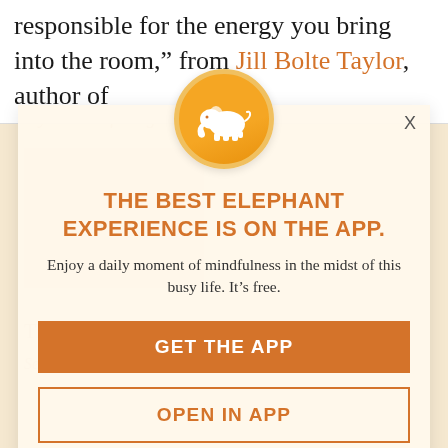responsible for the energy you bring into the room,” from Jill Bolte Taylor, author of
[Figure (infographic): App promotion modal with elephant logo icon in orange circle, title THE BEST ELEPHANT EXPERIENCE IS ON THE APP., body text about mindfulness, GET THE APP button, and OPEN IN APP button]
THE BEST ELEPHANT EXPERIENCE IS ON THE APP.
Enjoy a daily moment of mindfulness in the midst of this busy life. It’s free.
GET THE APP
OPEN IN APP